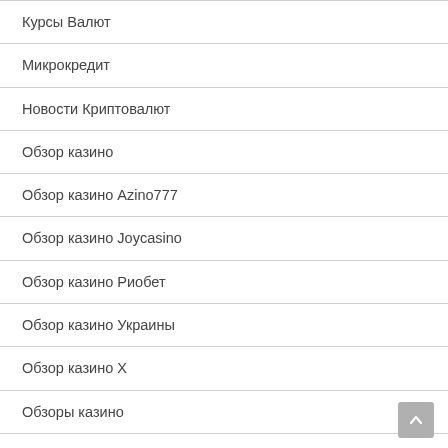Курсы Валют
Микрокредит
Новости Криптовалют
Обзор казино
Обзор казино Azino777
Обзор казино Joycasino
Обзор казино Риобет
Обзор казино Украины
Обзор казино Х
Обзоры казино
Обзоры казино Украина
Обзоры казино Украины